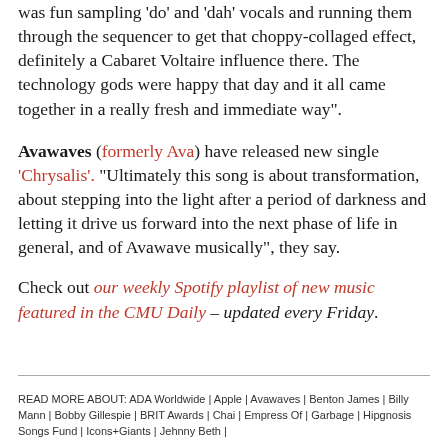was fun sampling 'do' and 'dah' vocals and running them through the sequencer to get that choppy-collaged effect, definitely a Cabaret Voltaire influence there. The technology gods were happy that day and it all came together in a really fresh and immediate way".
Avawaves (formerly Ava) have released new single 'Chrysalis'. "Ultimately this song is about transformation, about stepping into the light after a period of darkness and letting it drive us forward into the next phase of life in general, and of Avawave musically", they say.
Check out our weekly Spotify playlist of new music featured in the CMU Daily – updated every Friday.
READ MORE ABOUT: ADA Worldwide | Apple | Avawaves | Benton James | Billy Mann | Bobby Gillespie | BRIT Awards | Chai | Empress Of | Garbage | Hipgnosis Songs Fund | Icons+Giants | Jehnny Beth |